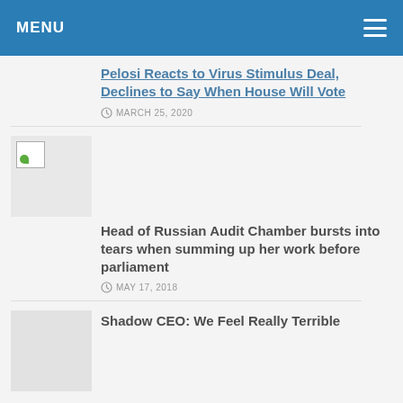MENU
Pelosi Reacts to Virus Stimulus Deal, Declines to Say When House Will Vote
MARCH 25, 2020
[Figure (photo): Broken image thumbnail placeholder]
Head of Russian Audit Chamber bursts into tears when summing up her work before parliament
MAY 17, 2018
[Figure (photo): Image thumbnail placeholder]
Shadow CEO: We Feel Really Terrible